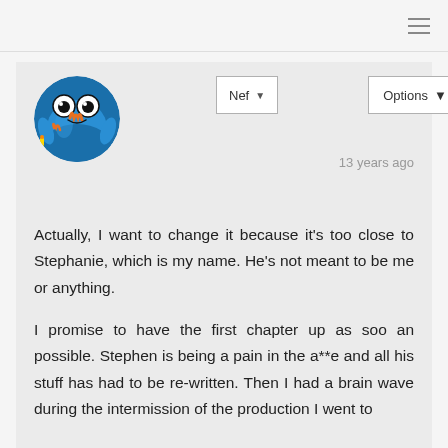≡
[Figure (photo): Circular avatar photo of a blue cartoon monster/muppet character with googly eyes and orange flame-like markings, holding something, photographed in real life]
Nef ▼
Options ▼
13 years ago
Actually, I want to change it because it's too close to Stephanie, which is my name. He's not meant to be me or anything.
I promise to have the first chapter up as soo an possible. Stephen is being a pain in the a**e and all his stuff has had to be re-written. Then I had a brain wave during the intermission of the production I went to